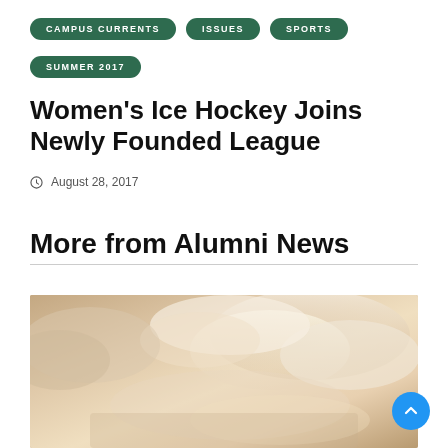CAMPUS CURRENTS | ISSUES | SPORTS
SUMMER 2017
Women's Ice Hockey Joins Newly Founded League
August 28, 2017
More from Alumni News
[Figure (photo): Sepia-toned sky with clouds photograph]